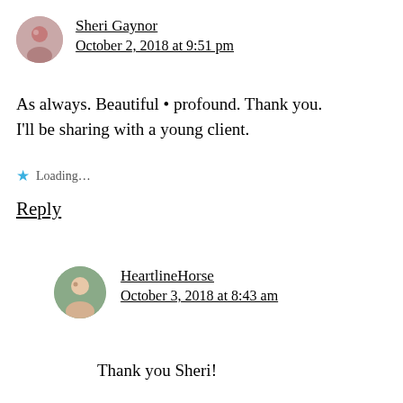Sheri Gaynor
October 2, 2018 at 9:51 pm
As always. Beautiful • profound. Thank you. I'll be sharing with a young client.
Loading...
Reply
HeartlineHorse
October 3, 2018 at 8:43 am
Thank you Sheri!